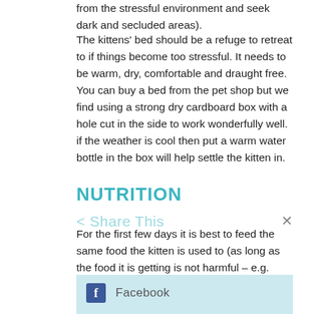from the stressful environment and seek dark and secluded areas).
The kittens' bed should be a refuge to retreat to if things become too stressful. It needs to be warm, dry, comfortable and draught free. You can buy a bed from the pet shop but we find using a strong dry cardboard box with a hole cut in the side to work wonderfully well. if the weather is cool then put a warm water bottle in the box will help settle the kitten in.
NUTRITION
For the first few days it is best to feed the same food the kitten is used to (as long as the food it is getting is not harmful – e.g. cows milk can cause intestinal upsets). The gradually change the diet to the food that you want to feed.
Kittens only have small stomachs and do not need huge quantities of food. It is best to feed small and often – we